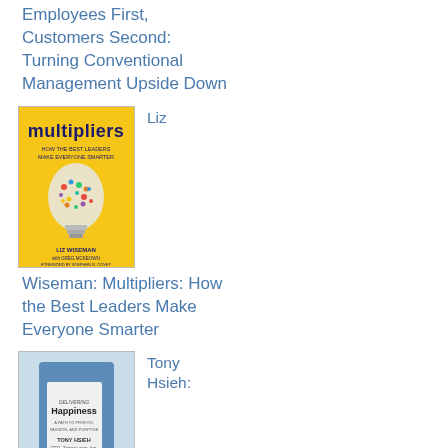Employees First, Customers Second: Turning Conventional Management Upside Down
[Figure (photo): Book cover of Multipliers: How the Best Leaders Make Everyone Smarter by Liz Wiseman - yellow cover with lightbulb]
Liz
Wiseman: Multipliers: How the Best Leaders Make Everyone Smarter
[Figure (photo): Book cover of Delivering Happiness by Tony Hsieh - Zappos themed cover]
Tony Hsieh: